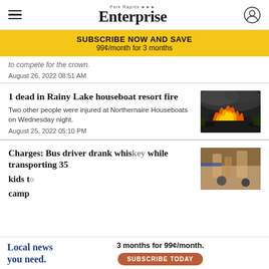Park Rapids Enterprise
SUBSCRIBE NOW AND SAVE 99¢/month for 3 months
to compete for the crown.
August 26, 2022 08:51 AM
1 dead in Rainy Lake houseboat resort fire
Two other people were injured at Northernaire Houseboats on Wednesday night.
August 25, 2022 05:10 PM
[Figure (photo): Photo of a large fire at a houseboat resort, flames visible against a dark sky]
Charges: Bus driver drank whis[key] while transporting 35 kids t[o] camp
[Figure (photo): Partial photo of a bus or related scene]
Local news you need. 3 months for 99¢/month. SUBSCRIBE TODAY